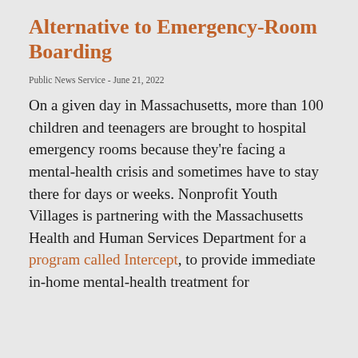Alternative to Emergency-Room Boarding
Public News Service - June 21, 2022
On a given day in Massachusetts, more than 100 children and teenagers are brought to hospital emergency rooms because they're facing a mental-health crisis and sometimes have to stay there for days or weeks. Nonprofit Youth Villages is partnering with the Massachusetts Health and Human Services Department for a program called Intercept, to provide immediate in-home mental-health treatment for